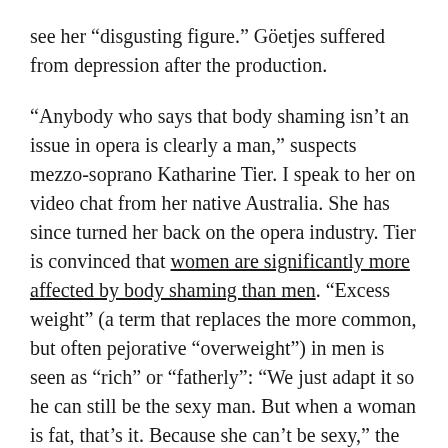see her “disgusing figure.” Göetjes suffered from depression after the production.
“Anybody who says that body shaming isn’t an issue in opera is clearly a man,” suspects mezzo-soprano Katharine Tier. I speak to her on video chat from her native Australia. She has since turned her back on the opera industry. Tier is convinced that women are significantly more affected by body shaming than men. “Excess weight” (a term that replaces the more common, but often pejorative “overweight”) in men is seen as “rich” or “fatherly”: “We just adapt it so he can still be the sexy man. But when a woman is fat, that’s it. Because she can’t be sexy,” the singer tells me.